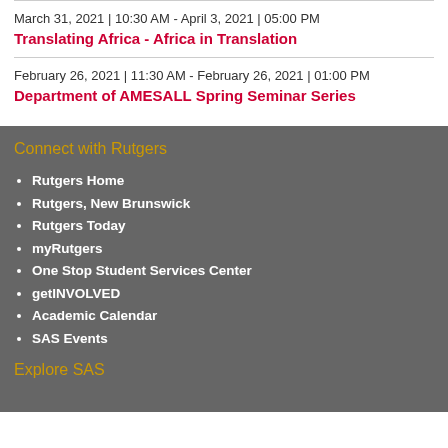March 31, 2021 | 10:30 AM - April 3, 2021 | 05:00 PM
Translating Africa - Africa in Translation
February 26, 2021 | 11:30 AM - February 26, 2021 | 01:00 PM
Department of AMESALL Spring Seminar Series
Connect with Rutgers
Rutgers Home
Rutgers, New Brunswick
Rutgers Today
myRutgers
One Stop Student Services Center
getINVOLVED
Academic Calendar
SAS Events
Explore SAS